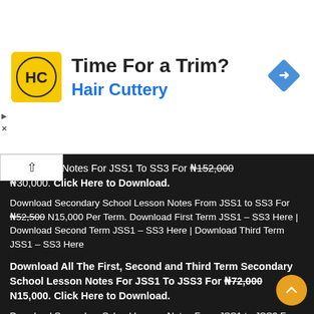[Figure (logo): Hair Cuttery advertisement banner with HC logo, text 'Time For a Trim?' and 'Hair Cuttery', and a navigation/directions diamond icon on the right]
ool Lesson Notes For JSS1 To SS3 For ₦152,000 ₦30,000. Click Here to Download.
Download Secondary School Lesson Notes From JSS1 to SS3 For ₦52,500 N15,000 Per Term. Download First Term JSS1 – SS3 Here | Download Second Term JSS1 – SS3 Here | Download Third Term JSS1 – SS3 Here
Download All The First, Second and Third Term Secondary School Lesson Notes For JSS1 To JSS3 For ₦72,000 N15,000. Click Here to Download.
Download Secondary School Lesson Notes From JSS1 to JSS3 For ₦22,500 N8,000 Per Term. Download First Term JSS1 – JSS3 Here | Download Second Term JSS1 – JSS3 Here | Download Third Term JSS1 – JSS3 Here